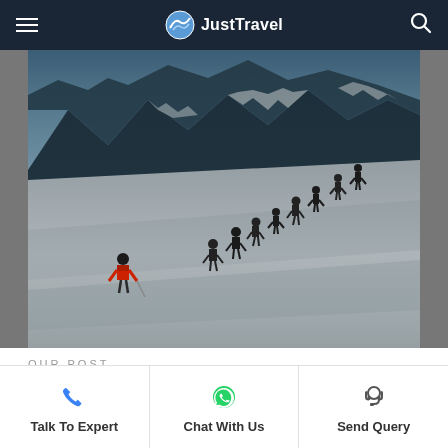JustTravel
[Figure (photo): Group of trekkers climbing a steep snow-covered mountain slope in single file, snow-capped peaks and blue sky in background. One trekker in red jacket visible at lower left.]
OUR POST
Winter Trek Essentials That You Must Pack When Hea
Talk To Expert | Chat With Us | Send Query